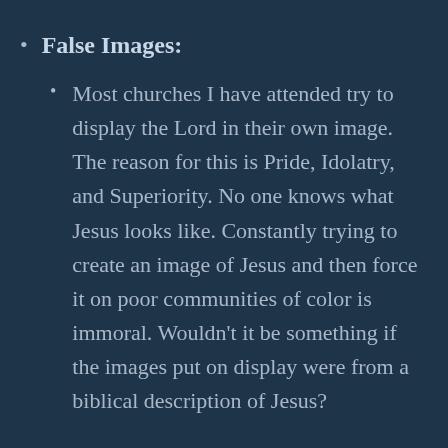False Images:
Most churches I have attended try to display the Lord in their own image. The reason for this is Pride, Idolatry, and Superiority. No one knows what Jesus looks like. Constantly trying to create an image of Jesus and then force it on poor communities of color is immoral. Wouldn’t it be something if the images put on display were from a biblical description of Jesus?